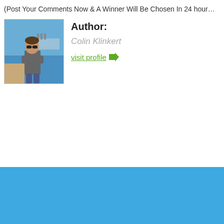(Post Your Comments Now & A Winner Will Be Chosen In 24 hour…
Author: Colin Klinkert — visit profile →
[Figure (photo): Photo of Colin Klinkert, a man standing outdoors near the sea/beach]
[Figure (other): Large solid blue background section at bottom of page]